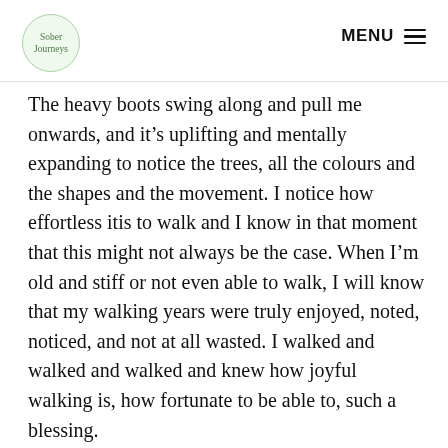Sober Journeys | MENU
The heavy boots swing along and pull me onwards, and it's uplifting and mentally expanding to notice the trees, all the colours and the shapes and the movement. I notice how effortless itis to walk and I know in that moment that this might not always be the case. When I'm old and stiff or not even able to walk, I will know that my walking years were truly enjoyed, noted, noticed, and not at all wasted. I walked and walked and walked and knew how joyful walking is, how fortunate to be able to, such a blessing.
Just 30 minutes, a mental health walk, not